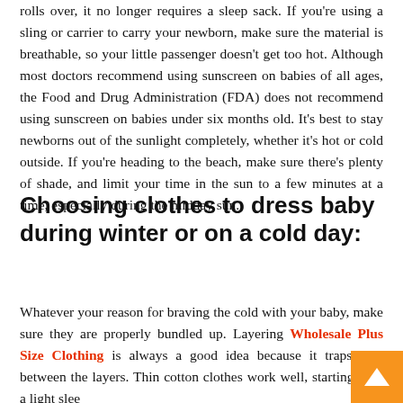rolls over, it no longer requires a sleep sack. If you're using a sling or carrier to carry your newborn, make sure the material is breathable, so your little passenger doesn't get too hot. Although most doctors recommend using sunscreen on babies of all ages, the Food and Drug Administration (FDA) does not recommend using sunscreen on babies under six months old. It's best to stay newborns out of the sunlight completely, whether it's hot or cold outside. If you're heading to the beach, make sure there's plenty of shade, and limit your time in the sun to a few minutes at a time, especially during the midday sun.
Choosing clothes to dress baby during winter or on a cold day:
Whatever your reason for braving the cold with your baby, make sure they are properly bundled up. Layering Wholesale Plus Size Clothing is always a good idea because it traps heat between the layers. Thin cotton clothes work well, starting with a light slee...